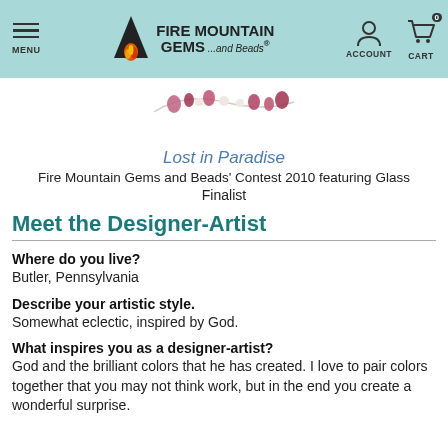MENU | FIRE MOUNTAIN GEMS ...and Beads® | ACCOUNT | CART 0
[Figure (photo): Partial view of a beaded jewelry piece with pink/red gemstone drops and pearl-like beads]
Lost in Paradise
Fire Mountain Gems and Beads' Contest 2010 featuring Glass
Finalist
Meet the Designer-Artist
Where do you live?
Butler, Pennsylvania
Describe your artistic style.
Somewhat eclectic, inspired by God.
What inspires you as a designer-artist?
God and the brilliant colors that he has created. I love to pair colors together that you may not think work, but in the end you create a wonderful surprise.